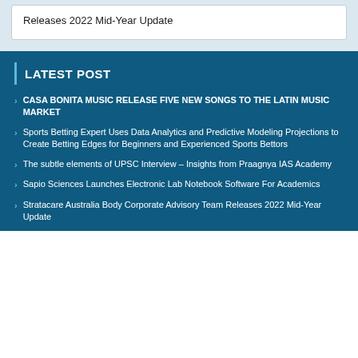Releases 2022 Mid-Year Update
LATEST POST
CASA BONITA MUSIC RELEASE FIVE NEW SONGS TO THE LATIN MUSIC MARKET
Sports Betting Expert Uses Data Analytics and Predictive Modeling Projections to Create Betting Edges for Beginners and Experienced Sports Bettors
The subtle elements of UPSC Interview – Insights from Praagnya IAS Academy
Sapio Sciences Launches Electronic Lab Notebook Software For Academics
Stratacare Australia Body Corporate Advisory Team Releases 2022 Mid-Year Update